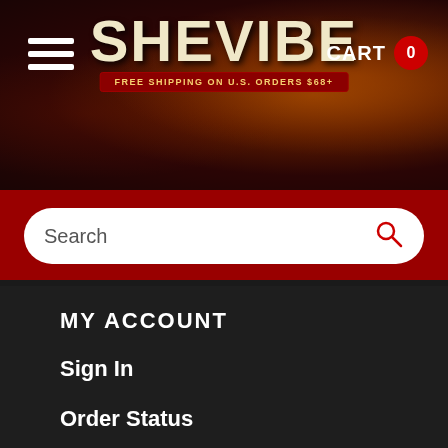[Figure (screenshot): SheVibe website header with logo, hamburger menu, cart, and red background]
Search
MY ACCOUNT
Sign In
Order Status
My Cart
Wishlist
Our Newsletter